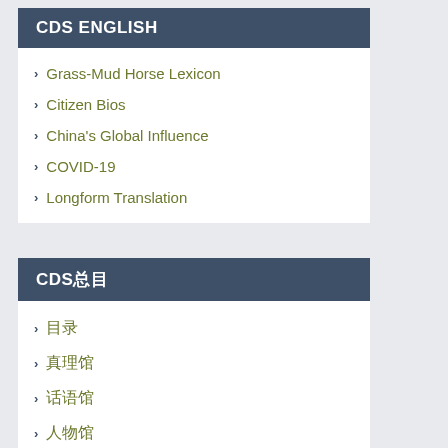CDS ENGLISH
Grass-Mud Horse Lexicon
Citizen Bios
China's Global Influence
COVID-19
Longform Translation
CDS总目
目录
真理馆
话语馆
人物馆
老大哥馆
公民馆